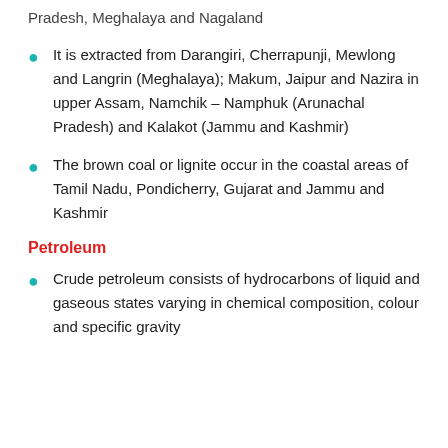Pradesh, Meghalaya and Nagaland
It is extracted from Darangiri, Cherrapunji, Mewlong and Langrin (Meghalaya); Makum, Jaipur and Nazira in upper Assam, Namchik – Namphuk (Arunachal Pradesh) and Kalakot (Jammu and Kashmir)
The brown coal or lignite occur in the coastal areas of Tamil Nadu, Pondicherry, Gujarat and Jammu and Kashmir
Petroleum
Crude petroleum consists of hydrocarbons of liquid and gaseous states varying in chemical composition, colour and specific gravity